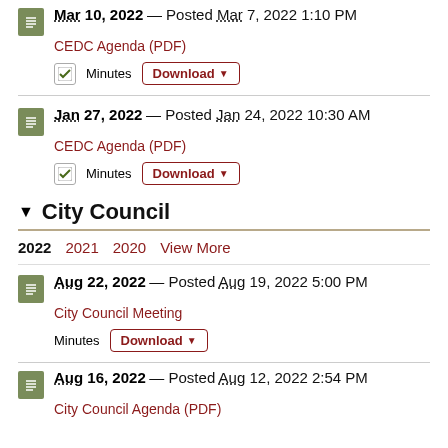Mar 10, 2022 — Posted Mar 7, 2022 1:10 PM
CEDC Agenda (PDF)
Minutes  Download
Jan 27, 2022 — Posted Jan 24, 2022 10:30 AM
CEDC Agenda (PDF)
Minutes  Download
▼  City Council
2022  2021  2020  View More
Aug 22, 2022 — Posted Aug 19, 2022 5:00 PM
City Council Meeting
Minutes  Download
Aug 16, 2022 — Posted Aug 12, 2022 2:54 PM
City Council Agenda (PDF)